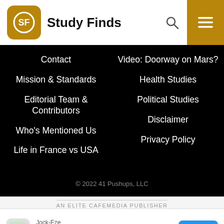Study Finds
Contact
Mission & Standards
Editorial Team & Contributors
Who's Mentioned Us
Life in France vs USA
Video: Doorway on Mars?
Health Studies
Political Studies
Disclaimer
Privacy Policy
© 2022 41 Pushups, LLC
AN ELITE CAFEMEDIA PUBLISHER
[Figure (other): Advertisement banner: Jock-Eze for Jock Itch with OPEN button]